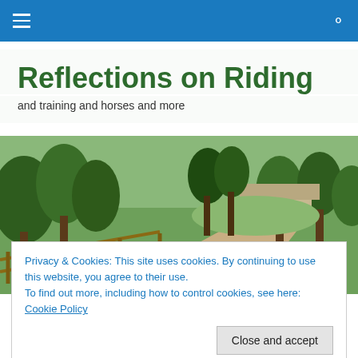Reflections on Riding — navigation bar
Reflections on Riding
and training and horses and more
[Figure (photo): A horse trail path with a wooden split-rail fence on the left, green trees and grass, leading to a building and more trees in the background.]
Privacy & Cookies: This site uses cookies. By continuing to use this website, you agree to their use.
To find out more, including how to control cookies, see here: Cookie Policy
Close and accept
seven pages have been filled in the last six days by